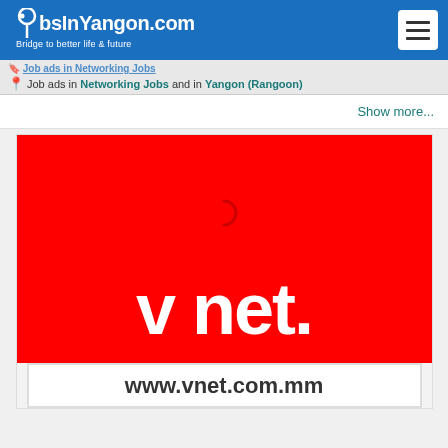JobsInYangon.com Bridge to better life & future
Job ads in Networking Jobs and in Yangon (Rangoon)
Show more...
[Figure (logo): v net. company logo on red background with white text and www.vnet.com.mm URL banner]